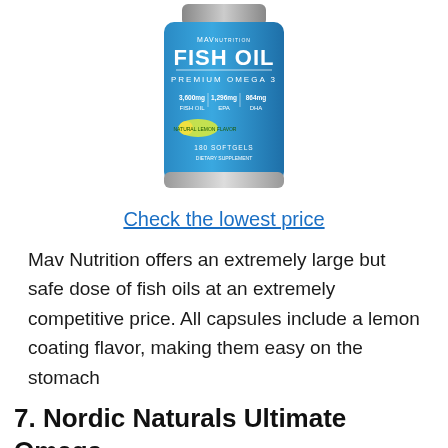[Figure (photo): MAV Nutrition Fish Oil supplement bottle — blue label reading FISH OIL PREMIUM OMEGA 3, with 3,600mg Fish Oil, 1,296mg EPA, 864mg DHA, Natural Lemon Flavor, 180 Softgels, Dietary Supplement]
Check the lowest price
Mav Nutrition offers an extremely large but safe dose of fish oils at an extremely competitive price. All capsules include a lemon coating flavor, making them easy on the stomach
7. Nordic Naturals Ultimate Omega